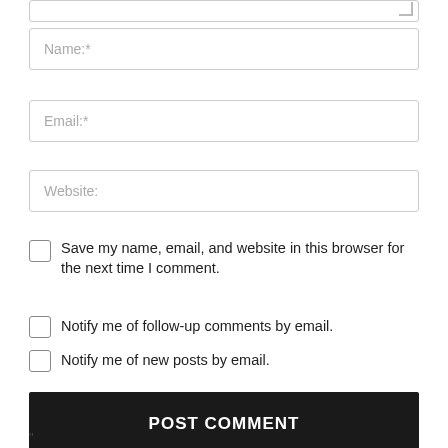[Figure (screenshot): Top portion of a textarea form field (comment box), showing just the bottom edge and resize handle]
Name:*
Email:*
Website:
Save my name, email, and website in this browser for the next time I comment.
Notify me of follow-up comments by email.
Notify me of new posts by email.
POST COMMENT
"
[Figure (screenshot): Advertisement banner showing Kimber brand logo, handgun image, '$100 CREDIT' text in blue, and MAKO logo on dark background]